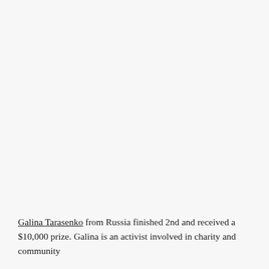Galina Tarasenko from Russia finished 2nd and received a $10,000 prize. Galina is an activist involved in charity and community